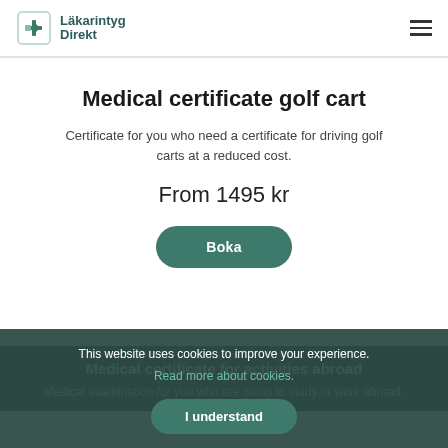Läkarintyg Direkt
Medical certificate golf cart
Certificate for you who need a certificate for driving golf carts at a reduced cost.
From 1495 kr
Boka
This website uses cookies to improve your experience. Read more about cookies. I understand
Medical certificate for activities abroad
Medical examination for you who are going to study or work abroad.